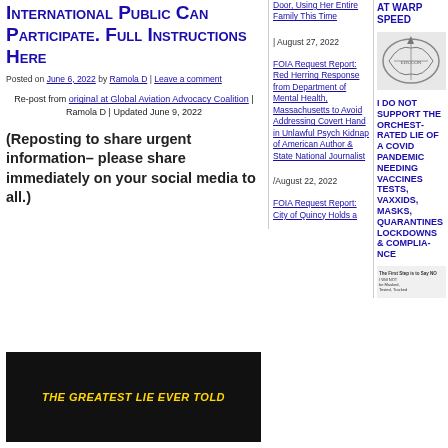International Public Can Participate. Full Instructions Here
Posted on June 6, 2022 by Ramola D | Leave a comment
Re-post from original at Global Aviation Advocacy Coalition | Ramola D | Updated June 9, 2022
(Reposting to share urgent information– please share immediately on your social media to all.)
[Figure (photo): Black background banner: THE GREATEST LIE EVER TOLD in yellow text]
Door, Using Her Entire Family This Time | August 27, 2022
FOIA Request Report: Red Herring Response from Department of Mental Health, Massachusetts to Avoid Addressing Covert Hand in Unlawful Psych Kidnap of American Author & State National Journalist/August 22, 2022
FOIA Request Report: City of Quincy Holds a
AT WARP SPEED
[Figure (logo): Military/Navy SEAL logo emblem in gray]
I DO NOT SUPPORT THE ORCHESTRATED LIE OF A COVID PANDEMIC NEEDING VACCINES TESTS, VAXXIDS, MASKS, QUARANTINES LOCKDOWNS & COMPLIANCE
[Figure (photo): The First Step is to Say NO – I Will NOT be Masked, Tested, Tracked]